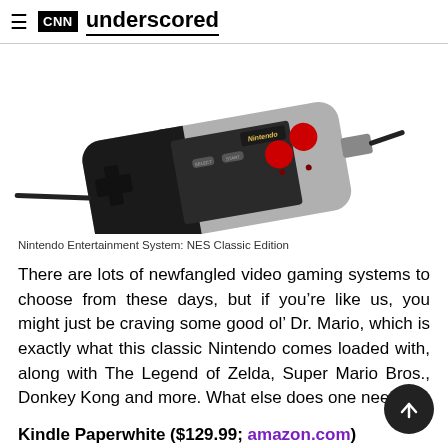CNN underscored
[Figure (photo): Nintendo Entertainment System NES Classic Edition controller, gray and black with red buttons, shown at an angle with a cable attached]
Nintendo Entertainment System: NES Classic Edition
There are lots of newfangled video gaming systems to choose from these days, but if you’re like us, you might just be craving some good ol’ Dr. Mario, which is exactly what this classic Nintendo comes loaded with, along with The Legend of Zelda, Super Mario Bros., Donkey Kong and more. What else does one need?
Kindle Paperwhite ($129.99; amazon.com)